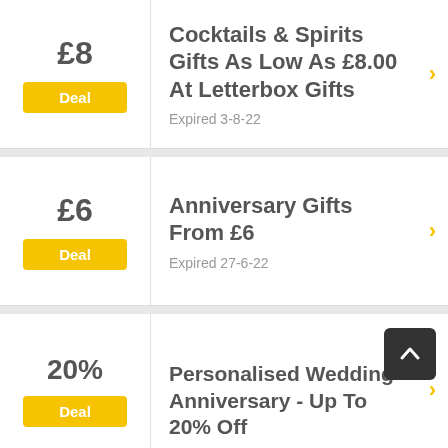£8
Deal
Cocktails & Spirits Gifts As Low As £8.00 At Letterbox Gifts
Expired 3-8-22
£6
Deal
Anniversary Gifts From £6
Expired 27-6-22
20%
Deal
Personalised Wedding Anniversary - Up To 20% Off